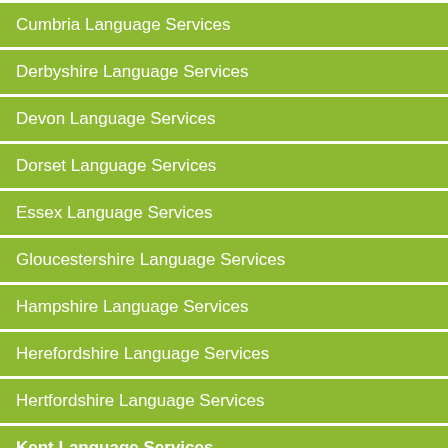Cumbria Language Services
Derbyshire Language Services
Devon Language Services
Dorset Language Services
Essex Language Services
Gloucestershire Language Services
Hampshire Language Services
Herefordshire Language Services
Hertfordshire Language Services
Kent Language Services
Arabic certified, notarised and FCO legalised translation in Kent